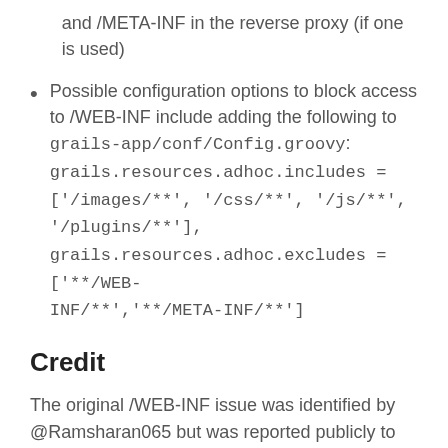and /META-INF in the reverse proxy (if one is used)
Possible configuration options to block access to /WEB-INF include adding the following to grails-app/conf/Config.groovy: grails.resources.adhoc.includes = ['/images/**', '/css/**', '/js/**', '/plugins/**'], grails.resources.adhoc.excludes = ['**/WEB-INF/**','**/META-INF/**']
Credit
The original /WEB-INF issue was identified by @Ramsharan065 but was reported publicly to the Grails team via Twitter. Pivotal strongly encourages responsible reporting of security vulnerabilities via email. The /META-INF aspects of this issue were identified by numerous